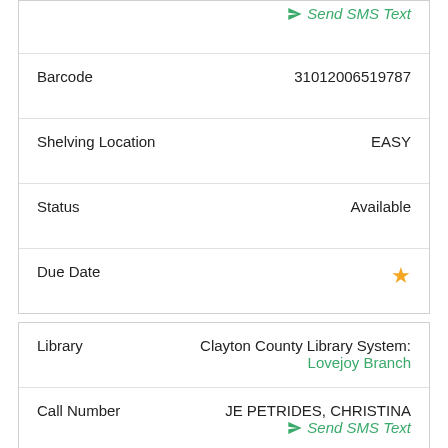| Field | Value |
| --- | --- |
| Barcode | 31012006519787 |
| Shelving Location | EASY |
| Status | Available |
| Due Date | ★ |
| Field | Value |
| --- | --- |
| Library | Clayton County Library System: Lovejoy Branch |
| Call Number | JE PETRIDES, CHRISTINA
Send SMS Text |
| Barcode | 31012006519795 |
| Shelving Location | EASY |